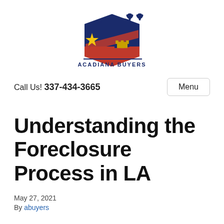[Figure (logo): Acadiana Buyers logo with stylized AB letters in navy blue and red with yellow star, and text ACADIANA BUYERS below]
Call Us! 337-434-3665
Menu
Understanding the Foreclosure Process in LA
May 27, 2021
By abuyers